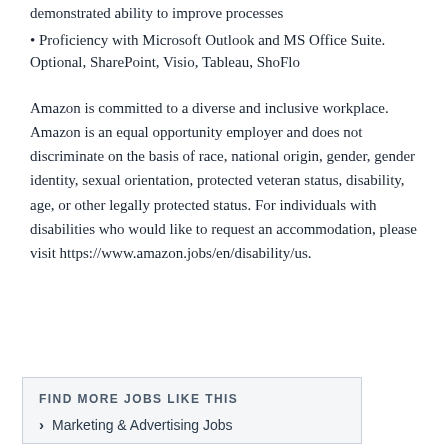demonstrated ability to improve processes
• Proficiency with Microsoft Outlook and MS Office Suite. Optional, SharePoint, Visio, Tableau, ShoFlo
Amazon is committed to a diverse and inclusive workplace. Amazon is an equal opportunity employer and does not discriminate on the basis of race, national origin, gender, gender identity, sexual orientation, protected veteran status, disability, age, or other legally protected status. For individuals with disabilities who would like to request an accommodation, please visit https://www.amazon.jobs/en/disability/us.
FIND MORE JOBS LIKE THIS
Marketing & Advertising Jobs